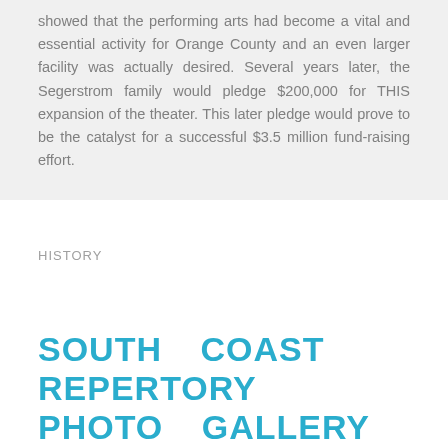showed that the performing arts had become a vital and essential activity for Orange County and an even larger facility was actually desired. Several years later, the Segerstrom family would pledge $200,000 for THIS expansion of the theater. This later pledge would prove to be the catalyst for a successful $3.5 million fund-raising effort.
HISTORY
SOUTH COAST REPERTORY PHOTO GALLERY